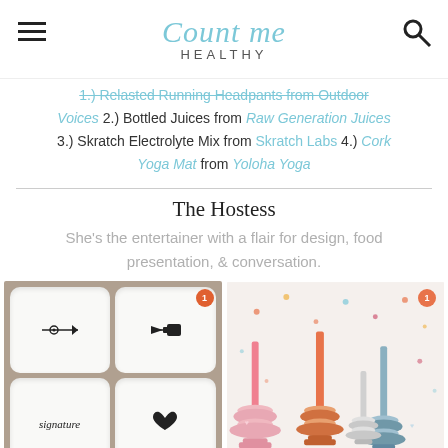Count me HEALTHY
1.) [strikethrough] Running Headpants from Outdoor Voices 2.) Bottled Juices from Raw Generation Juices 3.) Skratch Electrolyte Mix from Skratch Labs 4.) Cork Yoga Mat from Yoloha Yoga
The Hostess
She's the entertainer with a flair for design, food presentation, & conversation.
[Figure (photo): Four white ceramic dishes with black icons (arrow, pointing hand, signature, heart) on a wooden surface]
[Figure (photo): Colorful candlestick holders (pink, orange, blue, grey) with tall candles against a light background with confetti]